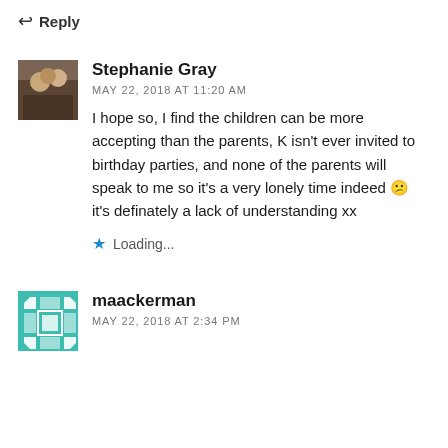↩ Reply
[Figure (photo): Avatar photo of Stephanie Gray, showing people, brownish tones]
Stephanie Gray
MAY 22, 2018 AT 11:20 AM
I hope so, I find the children can be more accepting than the parents, K isn't ever invited to birthday parties, and none of the parents will speak to me so it's a very lonely time indeed 😕 it's definately a lack of understanding xx
Loading...
[Figure (illustration): Avatar icon for maackerman, teal/green geometric pattern on square background]
maackerman
MAY 22, 2018 AT 2:34 PM